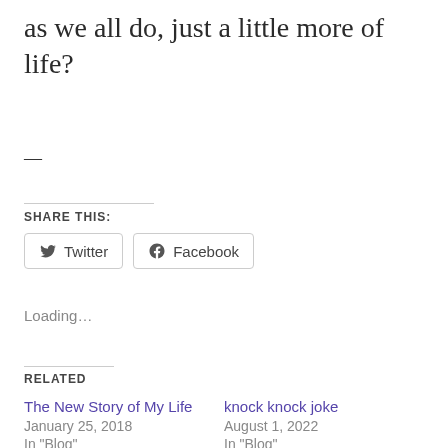as we all do, just a little more of life?
—
SHARE THIS:
Twitter  Facebook
Loading…
RELATED
The New Story of My Life
January 25, 2018
In "Blog"
knock knock joke
August 1, 2022
In "Blog"